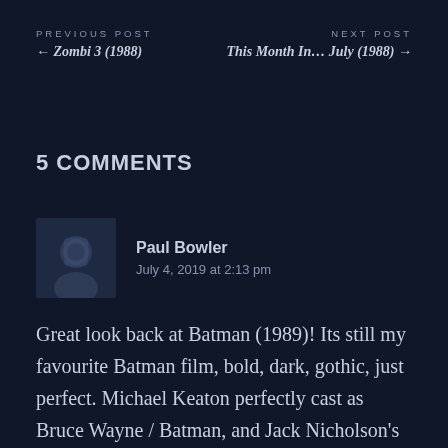PREVIOUS POST
← Zombi 3 (1988)
NEXT POST
This Month In… July (1988) →
5 COMMENTS
Paul Bowler
July 4, 2019 at 2:13 pm
Great look back at Batman (1989)! Its still my favourite Batman film, bold, dark, gothic, just perfect. Michael Keaton perfectly cast as Bruce Wayne / Batman, and Jack Nicholson's Joker is also brilliant. Tim Burton brought the Dark